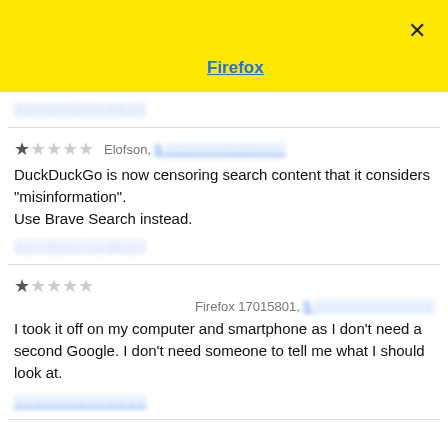[Figure (screenshot): Yellow browser bar with Firefox label and X close button]
░░░░░░░░░░░░░
★☆☆☆☆   Elofson, 5 ░░░░░░░░░░░░░
DuckDuckGo is now censoring search content that it considers "misinformation".
Use Brave Search instead.
░░░░░░░░░░░░░
★☆☆☆☆   Firefox 17015801, 5 ░░░░░░░░░░░░░
I took it off on my computer and smartphone as I don't need a second Google. I don't need someone to tell me what I should look at.
░░░░░░░░░░░░░